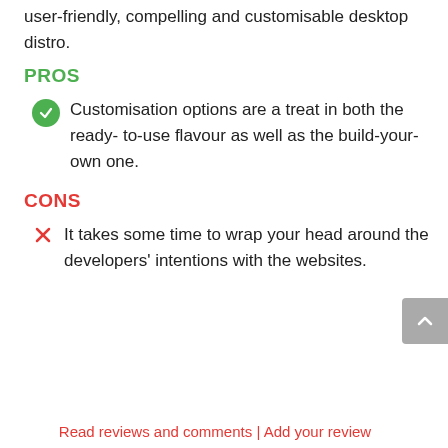user-friendly, compelling and customisable desktop distro.
PROS
Customisation options are a treat in both the ready- to-use flavour as well as the build-your-own one.
CONS
It takes some time to wrap your head around the developers' intentions with the websites.
Read reviews and comments | Add your review